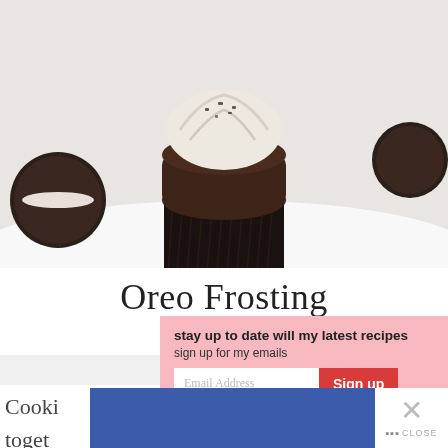[Figure (photo): Close-up photo of a chocolate cupcake with Oreo cookie frosting in a black cupcake liner, with Oreo cookies visible in the background on a white surface.]
Oreo Frosting
@createdbydiane
Cookie... togeth... to...
stay up to date will my latest recipes
sign up for my emails
Email Address
Sign up